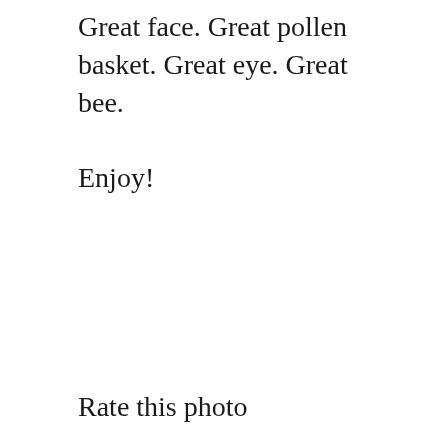Great face. Great pollen basket. Great eye. Great bee.
Enjoy!
Rate this photo